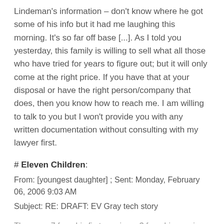Lindeman's information – don't know where he got some of his info but it had me laughing this morning. It's so far off base [...]. As I told you yesterday, this family is willing to sell what all those who have tried for years to figure out; but it will only come at the right price. If you have that at your disposal or have the right person/company that does, then you know how to reach me. I am willing to talk to you but I won't provide you with any written documentation without consulting with my lawyer first.
# Eleven Children:
From: [youngest daughter] ; Sent: Monday, February 06, 2006 9:03 AM
Subject: RE: DRAFT: EV Gray tech story
There are 7 from his first marriage, 3 from his marriage